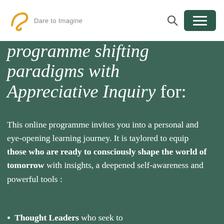Dare to Imagine
programme shifting paradigms with Appreciative Inquiry for:
This online programme invites you into a personal and eye-opening learning journey. It is taylored to equip those who are ready to consciously shape the world of tomorrow with insights, a deepened self-awareness and powerful tools :
Thought Leaders who seek to